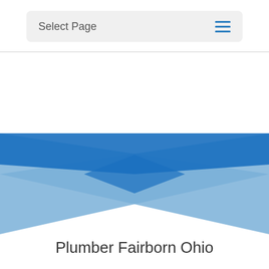Select Page
[Figure (illustration): Decorative X-shaped graphic made of two crossing triangular blue shapes forming a bowtie/X pattern with a white center diamond. The triangles use two shades of blue: a lighter steel blue on the outer parts and a brighter royal blue in the overlapping center-top and center-bottom regions.]
Plumber Fairborn Ohio